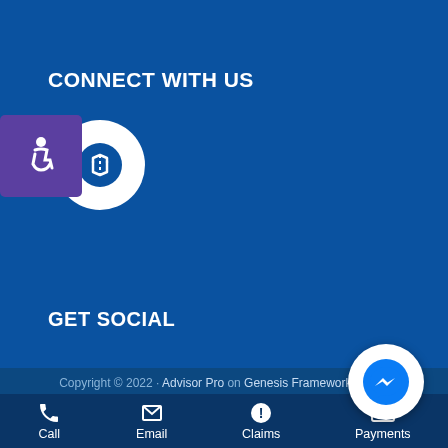CONNECT WITH US
[Figure (logo): Accessibility icon badge (purple) overlapping a white circle with a blue login/connect icon]
GET SOCIAL
Copyright © 2022 · Advisor Pro on Genesis Framework · W... · Log in
[Figure (logo): Facebook Messenger circular button]
[Figure (infographic): Bottom navigation bar with Call, Email, Claims, Payments icons]